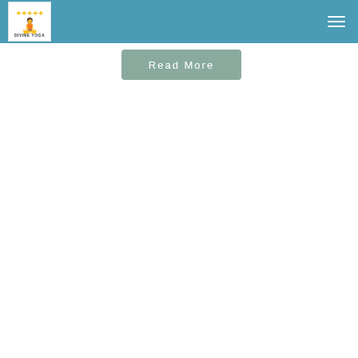Divine Yoga — navigation header
Read More
[Figure (other): Blue horizontal stripe banner element]